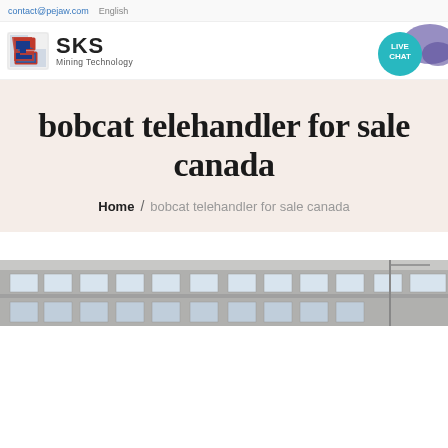contact@pejaw.com  English
[Figure (logo): SKS Mining Technology logo with stylized blue and red S icon and text 'SKS Mining Technology']
[Figure (illustration): Live chat bubble icon with teal background reading 'LIVE CHAT' and speech bubble graphic]
bobcat telehandler for sale canada
Home / bobcat telehandler for sale canada
[Figure (photo): Partial view of a building exterior with windows, grey facade visible at bottom of page]